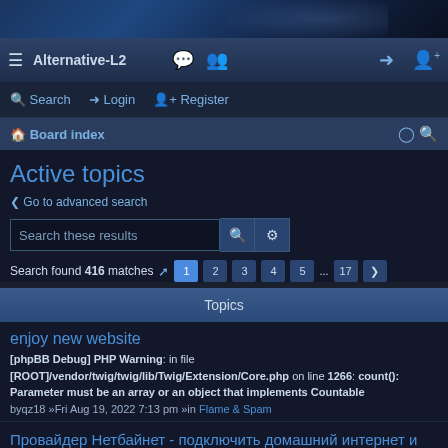[Figure (screenshot): Top banner with dark blue gradient background, fantasy game artwork]
Alternative-L2 navigation bar with hamburger menu, title, chat icon, users icon, login icon, register icon
Search | Login | Register
Board index
Active topics
< Go to advanced search
Search these results
Search found 416 matches  1 2 3 4 5 ... 17 >
Topics
enjoy new website
[phpBB Debug] PHP Warning: in file [ROOT]/vendor/twig/twig/lib/Twig/Extension/Core.php on line 1266: count(): Parameter must be an array or an object that implements Countable
byqz18 »Fri Aug 19, 2022 7:13 pm »in Flame & Spam
Провайдер Нетбайнет - подключить домашний интернет и телевидение Wifire, стоимость тарифов, подключен ли дом.
[phpBB Debug] PHP Warning: in file [ROOT]/vendor/twig/twig/lib/Twig/Extension/Core.php on line 1266: count(): Parameter must be an array or an object that implements Countable
byIanarReres »Fri Aug 19, 2022 6:55 pm »in Flame & Spam